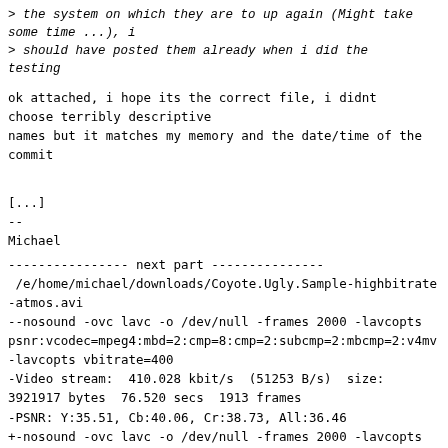> the system on which they are to up again (Might take some time ...), i
> should have posted them already when i did the testing
ok attached, i hope its the correct file, i didnt choose terribly descriptive
names but it matches my memory and the date/time of the commit
[...]
--
Michael
---------------- next part ---------------
 /e/home/michael/downloads/Coyote.Ugly.Sample-highbitrate-atmos.avi
--nosound -ovc lavc -o /dev/null -frames 2000 -lavcopts psnr:vcodec=mpeg4:mbd=2:cmp=8:cmp=2:subcmp=2:mbcmp=2:v4mv
-lavcopts vbitrate=400
-Video stream:  410.028 kbit/s  (51253 B/s)  size:
3921917 bytes  76.520 secs  1913 frames
-PSNR: Y:35.51, Cb:40.06, Cr:38.73, All:36.46
+-nosound -ovc lavc -o /dev/null -frames 2000 -lavcopts psnr:vcodec=mpeg4:mbd=2:cmp=810:cmp=2:subcmp=2:mbcmp=2:v4
-lavcopts vbitrate=400
+Video stream:  403.511 kbit/s  (50438 B/s)  size:
3859584 bytes  76.520 secs  1913 frames
+PSNR: Y:38.96, Cb:41.93, Cr:41.03, All:39.65
 --------========--------
 /e/home/michael/downloads/Coyote.Ugly.Sample-highbitrate-atmos.avi